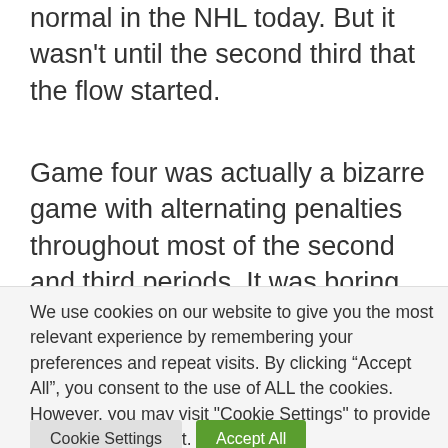normal in the NHL today. But it wasn't until the second third that the flow started.
Game four was actually a bizarre game with alternating penalties throughout most of the second and third periods. It was boring, frustrating, and there was more standing
We use cookies on our website to give you the most relevant experience by remembering your preferences and repeat visits. By clicking “Accept All”, you consent to the use of ALL the cookies. However, you may visit "Cookie Settings" to provide a controlled consent.